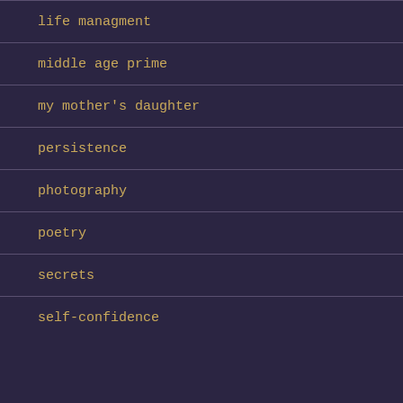life managment
middle age prime
my mother's daughter
persistence
photography
poetry
secrets
self-confidence